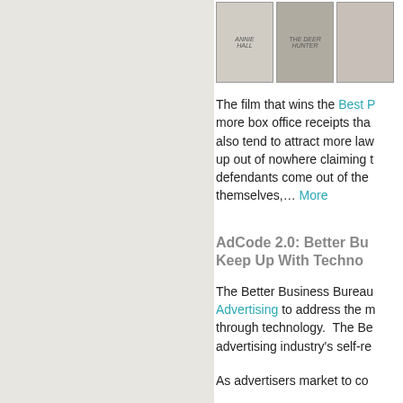[Figure (photo): Three movie poster thumbnails side by side: Annie Hall, The Deer Hunter, and a third film (partially visible)]
The film that wins the Best P... more box office receipts tha... also tend to attract more law... up out of nowhere claiming t... defendants come out of the ... themselves,... More
AdCode 2.0: Better Bu... Keep Up With Techno...
The Better Business Burea... Advertising to address the m... through technology. The Be... advertising industry's self-re...
As advertisers market to co...